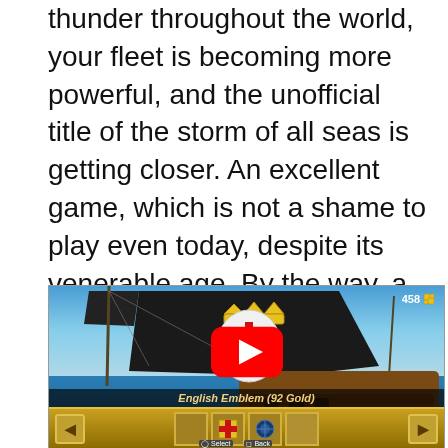thunder throughout the world, your fleet is becoming more powerful, and the unofficial title of the storm of all seas is getting closer. An excellent game, which is not a shame to play even today, despite its venerable age. By the way, a remake of the remake of “Pirates”, we are sure, would have come to court today.
[Figure (screenshot): Video game screenshot of a pirate ship with a black sail bearing an English crown and cross emblem. A YouTube play button overlay is visible. HUD shows '458' with a puzzle piece icon at top right. Bottom bar shows 'English Emblem (92 Gold)' with item slots and navigation arrows. Below that is a 'Select' and 'Back' button hint.]